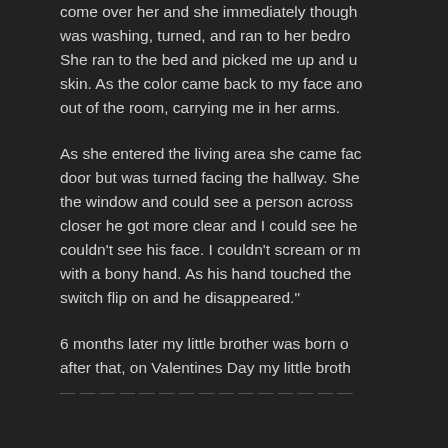come over her and she immediately though was washing, turned, and ran to her bedro She ran to the bed and picked me up and u skin. As the color came back to my face ano out of the room, carrying me in her arms.
As she entered the living area she came fac door but was turned facing the hallway. She the window and could see a person across closer he got more clear and I could see he couldn't see his face. I couldn't scream or m with a bony hand. As his hand touched the switch flip on and he disappeared."
6 months later my little brother was born o after that, on Valentines Day my little broth